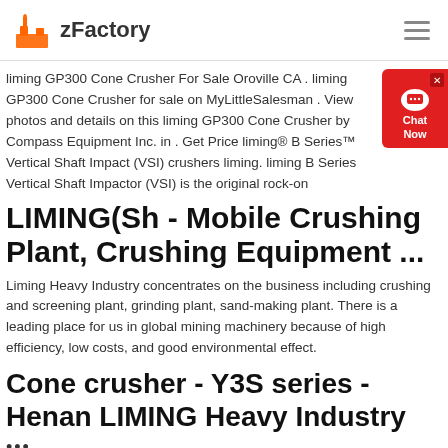zFactory
liming GP300 Cone Crusher For Sale Oroville CA . liming GP300 Cone Crusher for sale on MyLittleSalesman . View photos and details on this liming GP300 Cone Crusher by Compass Equipment Inc. in . Get Price liming® B Series™ Vertical Shaft Impact (VSI) crushers liming. liming B Series Vertical Shaft Impactor (VSI) is the original rock-on
LIMING(Sh - Mobile Crushing Plant, Crushing Equipment ...
Liming Heavy Industry concentrates on the business including crushing and screening plant, grinding plant, sand-making plant. There is a leading place for us in global mining machinery because of high efficiency, low costs, and good environmental effect.
Cone crusher - Y3S series - Henan LIMING Heavy Industry ...